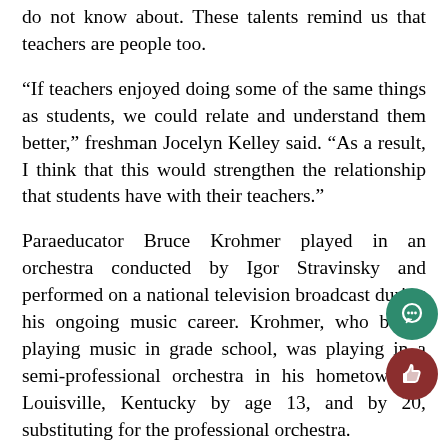do not know about. These talents remind us that teachers are people too.
“If teachers enjoyed doing some of the same things as students, we could relate and understand them better,” freshman Jocelyn Kelley said. “As a result, I think that this would strengthen the relationship that students have with their teachers.”
Paraeducator Bruce Krohmer played in an orchestra conducted by Igor Stravinsky and performed on a national television broadcast during his ongoing music career. Krohmer, who began playing music in grade school, was playing in a semi-professional orchestra in his hometown of Louisville, Kentucky by age 13, and by 20, substituting for the professional orchestra.
“I’ve always played music, one way or another,” Krohmer said.